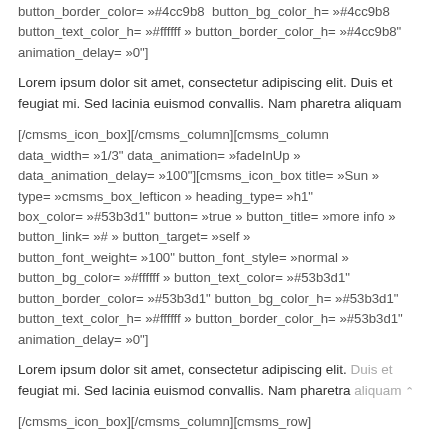button_border_color= »#4cc9b8  button_bg_color_h= »#4cc9b8  button_text_color_h= »#ffffff » button_border_color_h= »#4cc9b8" animation_delay= »0"]
Lorem ipsum dolor sit amet, consectetur adipiscing elit. Duis et feugiat mi. Sed lacinia euismod convallis. Nam pharetra aliquam
[/cmsms_icon_box][/cmsms_column][cmsms_column data_width= »1/3" data_animation= »fadeInUp » data_animation_delay= »100"][cmsms_icon_box title= »Sun » type= »cmsms_box_lefticon » heading_type= »h1" box_color= »#53b3d1" button= »true » button_title= »more info » button_link= »# » button_target= »self » button_font_weight= »100" button_font_style= »normal » button_bg_color= »#ffffff » button_text_color= »#53b3d1" button_border_color= »#53b3d1" button_bg_color_h= »#53b3d1" button_text_color_h= »#ffffff » button_border_color_h= »#53b3d1" animation_delay= »0"]
Lorem ipsum dolor sit amet, consectetur adipiscing elit. Duis et feugiat mi. Sed lacinia euismod convallis. Nam pharetra aliquam
[/cmsms_icon_box][/cmsms_column][cmsms_row]